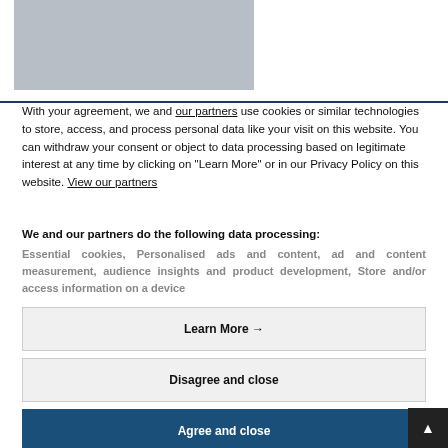[Figure (other): Gray placeholder image in the upper left area of the page]
With your agreement, we and our partners use cookies or similar technologies to store, access, and process personal data like your visit on this website. You can withdraw your consent or object to data processing based on legitimate interest at any time by clicking on "Learn More" or in our Privacy Policy on this website. View our partners
We and our partners do the following data processing: Essential cookies, Personalised ads and content, ad and content measurement, audience insights and product development, Store and/or access information on a device
Learn More →
Disagree and close
Agree and close